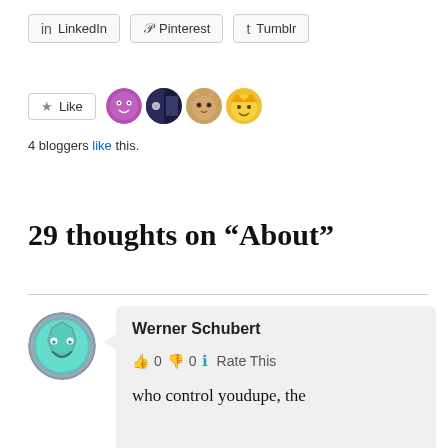[Figure (other): Social share buttons: LinkedIn, Pinterest, Tumblr]
[Figure (other): Like button with 4 blogger avatar icons]
4 bloggers like this.
29 thoughts on “About”
[Figure (other): Comment by Werner Schubert with smiley avatar, thumbs up/down rating 0 0, Rate This, comment text: who control youdupe, the]
Werner Schubert
👍 0 👎 0 ℹ Rate This
who control youdupe, the